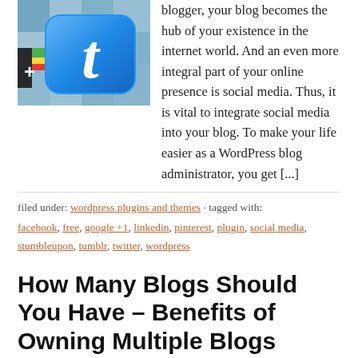[Figure (illustration): Twitter + icon logo image showing a blue rounded square Twitter bird icon with a plus sign overlay, on a blue mosaic background]
blogger, your blog becomes the hub of your existence in the internet world. And an even more integral part of your online presence is social media. Thus, it is vital to integrate social media into your blog. To make your life easier as a WordPress blog administrator, you get [...]
filed under: wordpress plugins and themes · tagged with: facebook, free, google +1, linkedin, pinterest, plugin, social media, stumbleupon, tumblr, twitter, wordpress
How Many Blogs Should You Have – Benefits of Owning Multiple Blogs